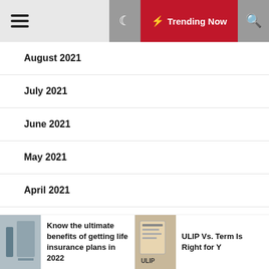Trending Now
August 2021
July 2021
June 2021
May 2021
April 2021
March 2021
January 2021
Know the ultimate benefits of getting life insurance plans in 2022
ULIP Vs. Term Is Right for Y